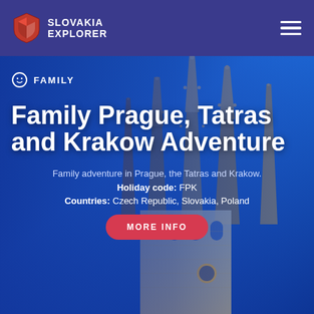SLOVAKIA EXPLORER
[Figure (screenshot): Hero image of Gothic church spires in Prague/Krakow against a blue sky, overlaid on a blue background]
FAMILY
Family Prague, Tatras and Krakow Adventure
Family adventure in Prague, the Tatras and Krakow.
Holiday code: FPK
Countries: Czech Republic, Slovakia, Poland
MORE INFO